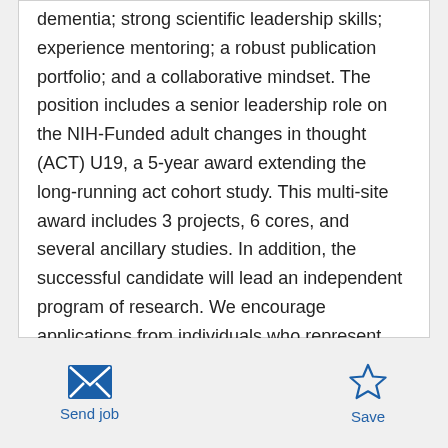dementia; strong scientific leadership skills; experience mentoring; a robust publication portfolio; and a collaborative mindset. The position includes a senior leadership role on the NIH-Funded adult changes in thought (ACT) U19, a 5-year award extending the long-running act cohort study. This multi-site award includes 3 projects, 6 cores, and several ancillary studies. In addition, the successful candidate will lead an independent program of research. We encourage applications from individuals who represent the broad range of diversity and lived experiences in our communities.
Send job
Save